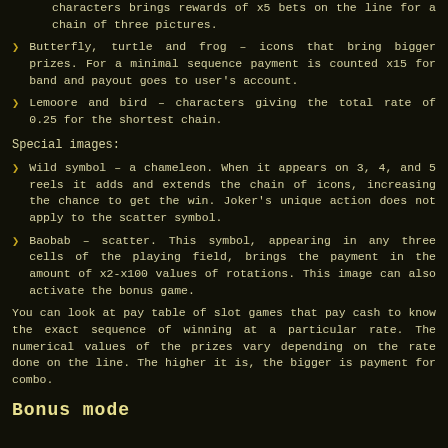characters brings rewards of x5 bets on the line for a chain of three pictures.
Butterfly, turtle and frog – icons that bring bigger prizes. For a minimal sequence payment is counted x15 for band and payout goes to user's account.
Lemoore and bird – characters giving the total rate of 0.25 for the shortest chain.
Special images:
Wild symbol – a chameleon. When it appears on 3, 4, and 5 reels it adds and extends the chain of icons, increasing the chance to get the win. Joker's unique action does not apply to the scatter symbol.
Baobab – scatter. This symbol, appearing in any three cells of the playing field, brings the payment in the amount of x2-x100 values of rotations. This image can also activate the bonus game.
You can look at pay table of slot games that pay cash to know the exact sequence of winning at a particular rate. The numerical values of the prizes vary depending on the rate done on the line. The higher it is, the bigger is payment for combo.
Bonus mode